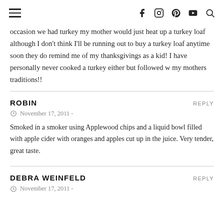Navigation header with menu icon, and social icons: Facebook, Instagram, Pinterest, YouTube, Search
occasion we had turkey my mother would just heat up a turkey loaf although I don't think I'll be running out to buy a turkey loaf anytime soon they do remind me of my thanksgivings as a kid! I have personally never cooked a turkey either but followed w my mothers traditions!!
ROBIN
November 17, 2011 -
Smoked in a smoker using Applewood chips and a liquid bowl filled with apple cider with oranges and apples cut up in the juice. Very tender, great taste.
DEBRA WEINFELD
November 17, 2011 -